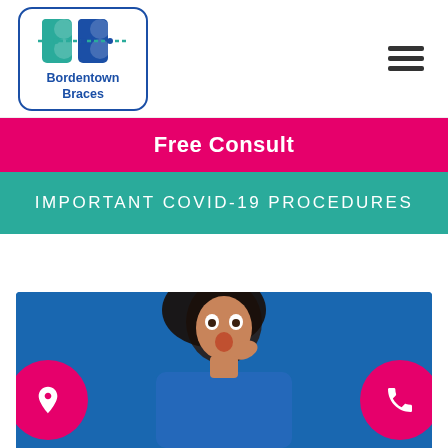[Figure (logo): Bordentown Braces logo with teal and blue B letters and braces wire graphic inside a rounded square border]
[Figure (other): Hamburger menu icon (three horizontal lines)]
Free Consult
IMPORTANT COVID-19 PROCEDURES
[Figure (photo): Young woman with curly hair looking surprised, hand near mouth, on blue background, with pink circle buttons for location and phone on left and right sides]